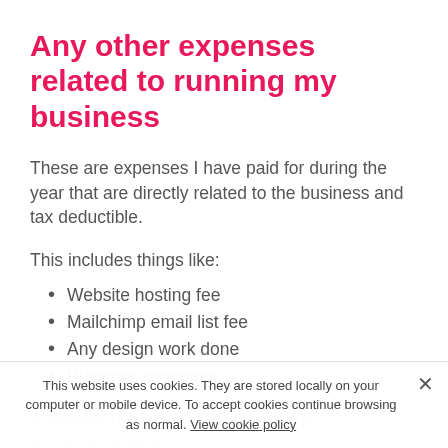Any other expenses related to running my business
These are expenses I have paid for during the year that are directly related to the business and tax deductible.
This includes things like:
Website hosting fee
Mailchimp email list fee
Any design work done
Business coaching
If you can provide receipts and keep accur... towards your... sure you keep these records for the next 7
This website uses cookies. They are stored locally on your computer or mobile device. To accept cookies continue browsing as normal. View cookie policy